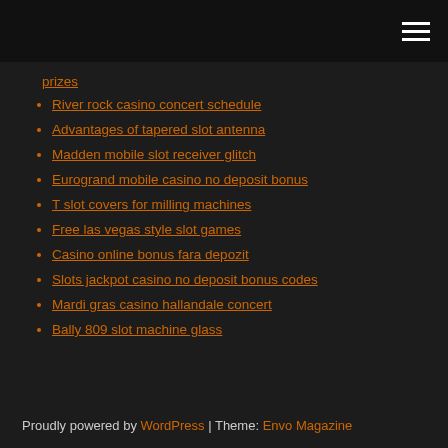[hamburger menu icon]
prizes
River rock casino concert schedule
Advantages of tapered slot antenna
Madden mobile slot receiver glitch
Eurogrand mobile casino no deposit bonus
T slot covers for milling machines
Free las vegas style slot games
Casino online bonus fara depozit
Slots jackpot casino no deposit bonus codes
Mardi gras casino hallandale concert
Bally 809 slot machine glass
Proudly powered by WordPress | Theme: Envo Magazine